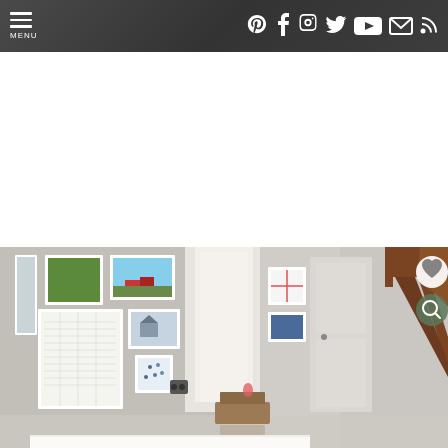MENU | Navigation bar with social icons: Pinterest, Facebook, Instagram, Twitter, YouTube, Email, RSS
[Figure (photo): Interior hallway/entryway of a home featuring a gallery wall with multiple white-framed artworks and prints on the left wall, a doorway leading to a bright room, a staircase with a wooden railing on the right, and white wainscoting panels. The space has light gray walls and hardwood floors.]